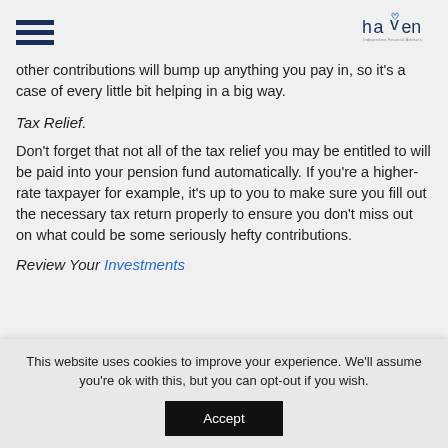Haven - Independent Financial Advisors [hamburger menu + logo]
other contributions will bump up anything you pay in, so it's a case of every little bit helping in a big way.
Tax Relief.
Don’t forget that not all of the tax relief you may be entitled to will be paid into your pension fund automatically. If you’re a higher-rate taxpayer for example, it’s up to you to make sure you fill out the necessary tax return properly to ensure you don’t miss out on what could be some seriously hefty contributions.
Review Your Investments
This website uses cookies to improve your experience. We’ll assume you’re ok with this, but you can opt-out if you wish.